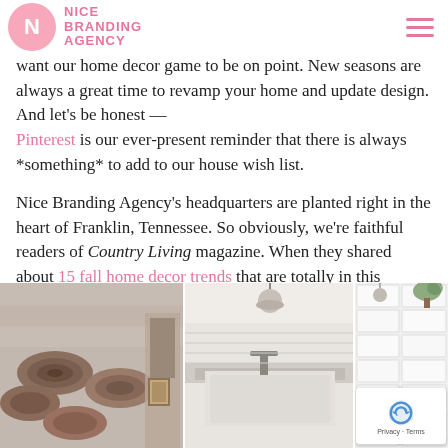NICE BRANDING AGENCY
want our home decor game to be on point. New seasons are always a great time to revamp your home and update design. And let's be honest — Pinterest is our ever-present reminder that there is always *something* to add to our house wish list.
Nice Branding Agency's headquarters are planted right in the heart of Franklin, Tennessee. So obviously, we're faithful readers of Country Living magazine. When they shared about 15 fall home decor trends that are totally in this season, you better believe that we scoured their article to learn about what's hot and what's not.
[Figure (photo): Three side-by-side lifestyle/interior photos: left shows stacked firewood logs against a rustic wall; middle shows a white farmhouse-style kitchen sink; right shows white subway tile with some greenery.]